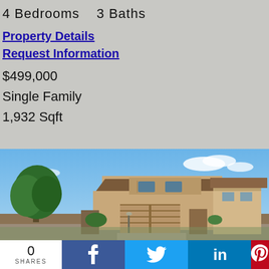4 Bedrooms   3 Baths
Property Details
Request Information
$499,000
Single Family
1,932 Sqft
[Figure (photo): Exterior photo of a two-story single family home with tan/beige stucco finish, two-car garage, and a large tree in the front yard under a partly cloudy blue sky.]
0 SHARES
f (Facebook share button)
Twitter share button
in (LinkedIn share button)
P (Pinterest share button)